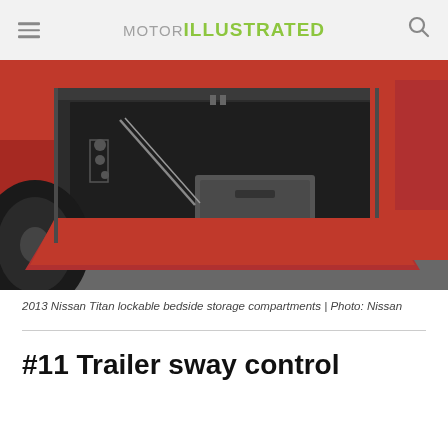MOTOR ILLUSTRATED
[Figure (photo): 2013 Nissan Titan lockable bedside storage compartments with an open panel revealing interior storage space, red truck body visible]
2013 Nissan Titan lockable bedside storage compartments | Photo: Nissan
#11 Trailer sway control